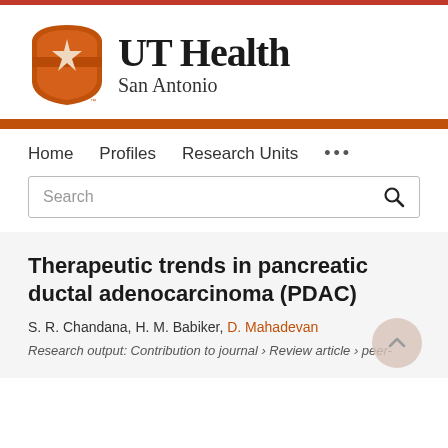[Figure (logo): UT Health San Antonio logo with orange shield bearing a star and the text 'UT Health San Antonio']
Home   Profiles   Research Units   ...
Search
Therapeutic trends in pancreatic ductal adenocarcinoma (PDAC)
S. R. Chandana, H. M. Babiker, D. Mahadevan
Research output: Contribution to journal › Review article › peer-